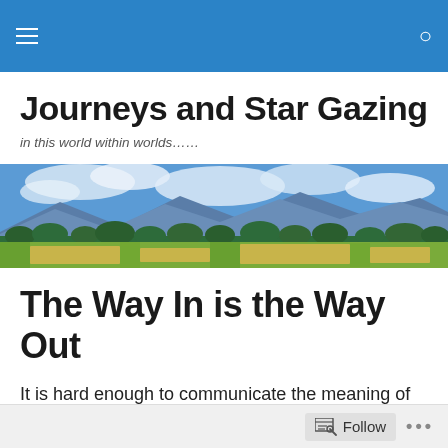Navigation bar with hamburger menu and search icon
Journeys and Star Gazing
in this world within worlds……
[Figure (photo): Panoramic landscape photo showing green fields, trees, mountains with blue sky and clouds]
The Way In is the Way Out
It is hard enough to communicate the meaning of DEMOCRACY so that it corresponds with every other interpretation of this word. This is a fact of
Follow  •••